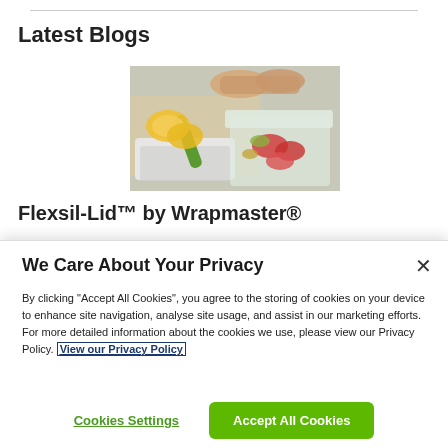Latest Blogs
[Figure (photo): Kitchen scene with food containers, sliced lemons/oranges, strawberries, and a person's hands handling plastic lids over a cutting board]
Flexsil-Lid™ by Wrapmaster®
We Care About Your Privacy
By clicking "Accept All Cookies", you agree to the storing of cookies on your device to enhance site navigation, analyse site usage, and assist in our marketing efforts. For more detailed information about the cookies we use, please view our Privacy Policy. View our Privacy Policy
Cookies Settings
Accept All Cookies